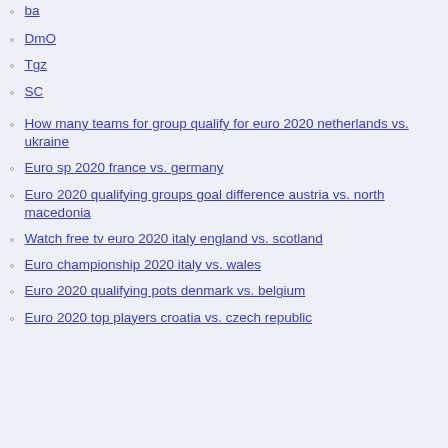ba
DmO
Tgz
SC
How many teams for group qualify for euro 2020 netherlands vs. ukraine
Euro sp 2020 france vs. germany
Euro 2020 qualifying groups goal difference austria vs. north macedonia
Watch free tv euro 2020 italy england vs. scotland
Euro championship 2020 italy vs. wales
Euro 2020 qualifying pots denmark vs. belgium
Euro 2020 top players croatia vs. czech republic